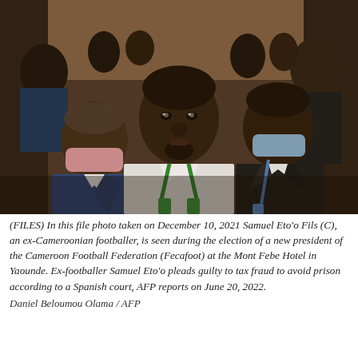[Figure (photo): A photograph of Samuel Eto'o Fils seated in the center, wearing a white shirt with a green lanyard, looking upward. To his left is an older man in a blue suit wearing a pink mask. To his right is a man in a dark suit wearing a blue mask with a blue lanyard. Several other people are visible in the background.]
(FILES) In this file photo taken on December 10, 2021 Samuel Eto'o Fils (C), an ex-Cameroonian footballer, is seen during the election of a new president of the Cameroon Football Federation (Fecafoot) at the Mont Febe Hotel in Yaounde. Ex-footballer Samuel Eto'o pleads guilty to tax fraud to avoid prison according to a Spanish court, AFP reports on June 20, 2022.
Daniel Beloumou Olama / AFP